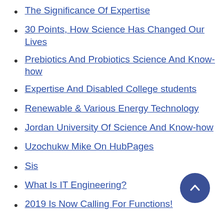The Significance Of Expertise
30 Points, How Science Has Changed Our Lives
Prebiotics And Probiotics Science And Know-how
Expertise And Disabled College students
Renewable & Various Energy Technology
Jordan University Of Science And Know-how
Uzochukw Mike On HubPages
Sis
What Is IT Engineering?
2019 Is Now Calling For Functions!